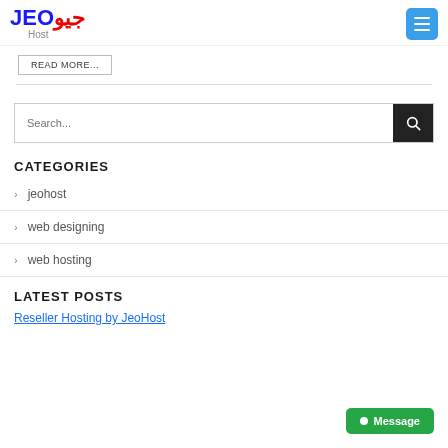JEO جیو Host — navigation header with menu button
READ MORE...
Search...
CATEGORIES
jeohost
web designing
web hosting
LATEST POSTS
Reseller Hosting by JeoHost
Message